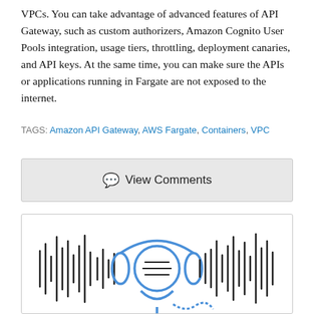VPCs. You can take advantage of advanced features of API Gateway, such as custom authorizers, Amazon Cognito User Pools integration, usage tiers, throttling, deployment canaries, and API keys. At the same time, you can make sure the APIs or applications running in Fargate are not exposed to the internet.
TAGS: Amazon API Gateway, AWS Fargate, Containers, VPC
View Comments
[Figure (illustration): Illustration of a podcast/audio icon: a microphone with headphones in blue and black outline style, surrounded by vertical audio waveform bars on both sides, with a cable/connector element at the bottom right.]